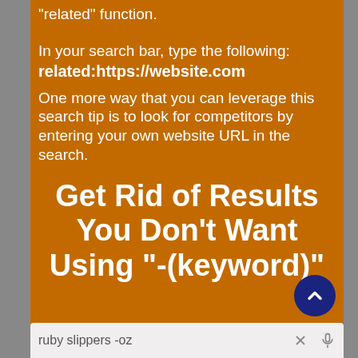“related” function.
In your search bar, type the following:
related:https://website.com
One more way that you can leverage this search tip is to look for competitors by entering your own website URL in the search.
Get Rid of Results You Don’t Want Using “-(keyword)”
[Figure (screenshot): Search bar showing 'ruby slippers -oz' query with X and microphone icons]